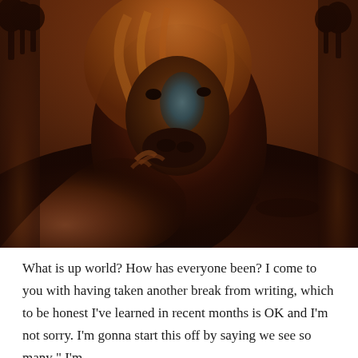[Figure (photo): A dramatic photograph of a horse facing the camera closely in a dark, moody outdoor setting with warm orange-brown tones. The horse has flowing golden-reddish mane and a blue-teal marking on its face. A human hand/arm is visible in the foreground reaching toward or being nuzzled by the horse. Dark trees are silhouetted against a reddish-orange sky in the background.]
What is up world? How has everyone been? I come to you with having taken another break from writing, which to be honest I've learned in recent months is OK and I'm not sorry. I'm gonna start this off by saying we see so many " I'm